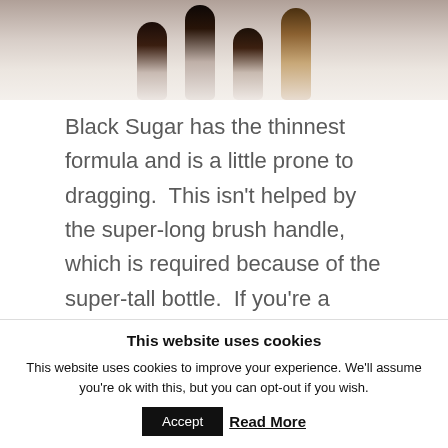[Figure (photo): Close-up photo of painted fingernails in dark and neutral shades against a white/cream background]
Black Sugar has the thinnest formula and is a little prone to dragging.  This isn't helped by the super-long brush handle, which is required because of the super-tall bottle.  If you're a cack-handed muppet like myself, it's the least easy polish to apply in the bunch.  That said though, the Tom Ford nail polish formula is a good one, and the shades tend to wear very well
This website uses cookies
This website uses cookies to improve your experience. We'll assume you're ok with this, but you can opt-out if you wish.
Accept  Read More